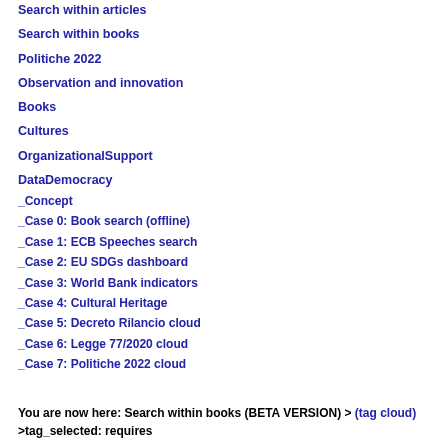Search within articles
Search within books
Politiche 2022
Observation and innovation
Books
Cultures
OrganizationalSupport
DataDemocracy
_Concept
_Case 0: Book search (offline)
_Case 1: ECB Speeches search
_Case 2: EU SDGs dashboard
_Case 3: World Bank indicators
_Case 4: Cultural Heritage
_Case 5: Decreto Rilancio cloud
_Case 6: Legge 77/2020 cloud
_Case 7: Politiche 2022 cloud
You are now here: Search within books (BETA VERSION) > (tag cloud) >tag_selected: requires